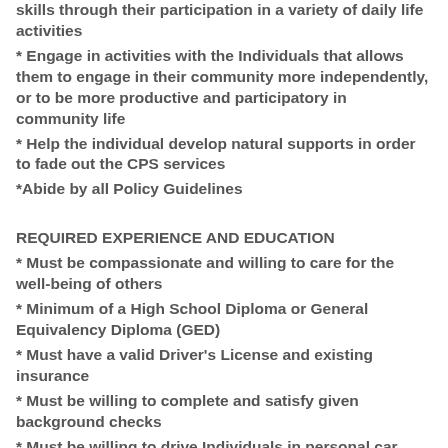skills through their participation in a variety of daily life activities
* Engage in activities with the Individuals that allows them to engage in their community more independently, or to be more productive and participatory in community life
* Help the individual develop natural supports in order to fade out the CPS services
*Abide by all Policy Guidelines
REQUIRED EXPERIENCE AND EDUCATION
* Must be compassionate and willing to care for the well-being of others
* Minimum of a High School Diploma or General Equivalency Diploma (GED)
* Must have a valid Driver's License and existing insurance
* Must be willing to complete and satisfy given background checks
* Must be willing to drive Individuals in personal car throughout the community
* Must have flexible availability